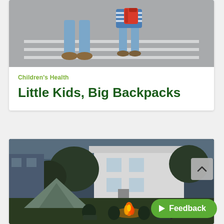[Figure (photo): Two people walking on a street, one adult and one child wearing a red backpack and striped shirt, shot from waist down]
Children's Health
Little Kids, Big Backpacks
[Figure (photo): Family sitting around a campfire in a backyard at dusk, with a tent on the left and a white house in the background]